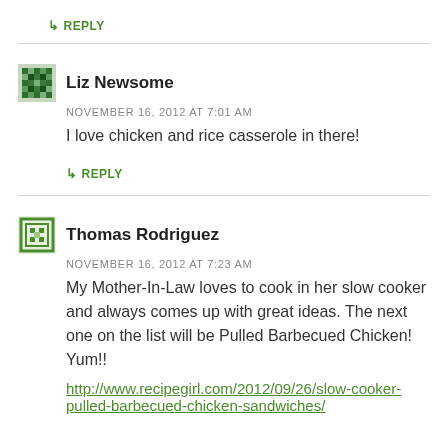↳ REPLY
Liz Newsome
NOVEMBER 16, 2012 AT 7:01 AM
I love chicken and rice casserole in there!
↳ REPLY
Thomas Rodriguez
NOVEMBER 16, 2012 AT 7:23 AM
My Mother-In-Law loves to cook in her slow cooker and always comes up with great ideas. The next one on the list will be Pulled Barbecued Chicken! Yum!!
http://www.recipegirl.com/2012/09/26/slow-cooker-pulled-barbecued-chicken-sandwiches/